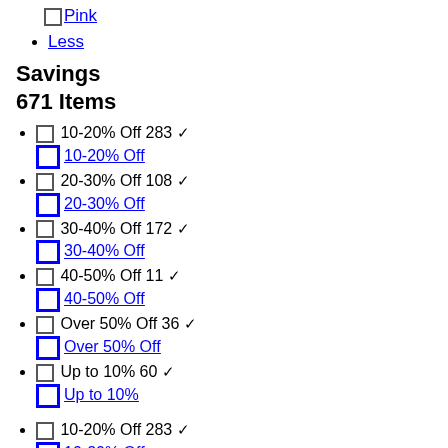Pink (checkbox + link)
Less
Savings
671 Items
10-20% Off 283 ✓
10-20% Off (link)
20-30% Off 108 ✓
20-30% Off (link)
30-40% Off 172 ✓
30-40% Off (link)
40-50% Off 11 ✓
40-50% Off (link)
Over 50% Off 36 ✓
Over 50% Off (link)
Up to 10% 60 ✓
Up to 10% (link)
10-20% Off 283 ✓
10-20% Off (link)
20-30% Off 108 ✓
20-30% Off (link)